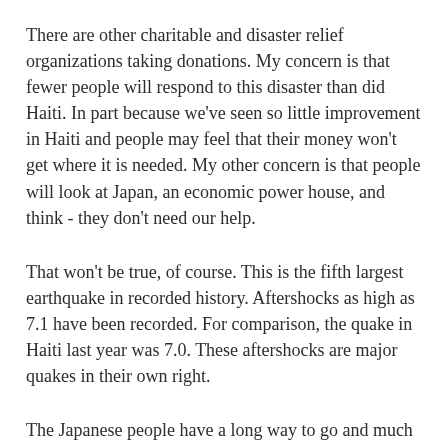There are other charitable and disaster relief organizations taking donations. My concern is that fewer people will respond to this disaster than did Haiti. In part because we've seen so little improvement in Haiti and people may feel that their money won't get where it is needed. My other concern is that people will look at Japan, an economic power house, and think - they don't need our help.
That won't be true, of course. This is the fifth largest earthquake in recorded history. Aftershocks as high as 7.1 have been recorded. For comparison, the quake in Haiti last year was 7.0. These aftershocks are major quakes in their own right.
The Japanese people have a long way to go and much hardship ahead of them. On a more personal note, my company is getting ready to open an office in Japan. We just announced the hire of our first employee there yesterday and anticipated opening the office in April. Our new hire is fine and managed to get an email to us. He is shaken but unharmed. Where we go from here is unknown.